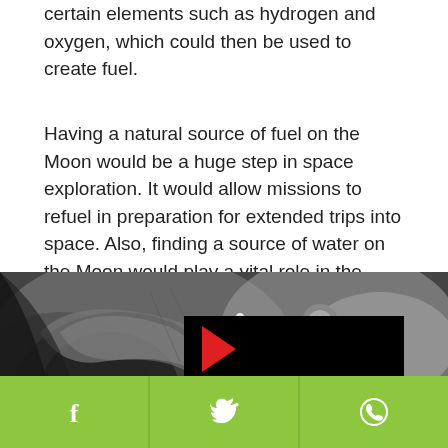Since liquid water can be processed in order to extract certain elements such as hydrogen and oxygen, which could then be used to create fuel.
Having a natural source of fuel on the Moon would be a huge step in space exploration. It would allow missions to refuel in preparation for extended trips into space. Also, finding a source of water on the Moon would play a vital role in the establishment of a lunar outpost.
[Figure (photo): Grayscale image of the Moon's surface showing the Tycho crater region, with a white asterisk marker. A video player overlay is shown on the right side with a red play button and a small moon crescent.]
Social share icons: Facebook, Twitter, WhatsApp